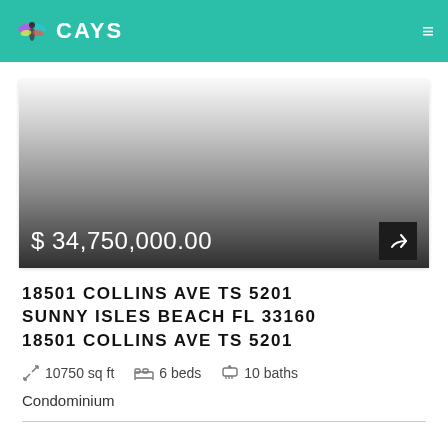CAYS
[Figure (photo): Property listing image with gradient overlay showing price $34,750,000.00 at bottom left and share button at bottom right]
18501 COLLINS AVE TS 5201 SUNNY ISLES BEACH FL 33160 18501 COLLINS AVE TS 5201
10750 sq ft   6 beds   10 baths
Condominium